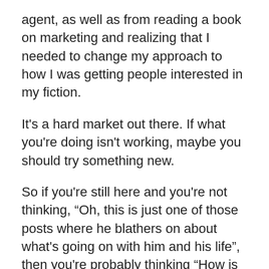agent, as well as from reading a book on marketing and realizing that I needed to change my approach to how I was getting people interested in my fiction.
It's a hard market out there. If what you're doing isn't working, maybe you should try something new.
So if you're still here and you're not thinking, “Oh, this is just one of those posts where he blathers on about what's going on with him and his life”, then you're probably thinking “How is he doing with that resolution, then?” and “How did he change his approach?”Well, I like to think that so far, so good. This isn't the sort of resolution that can be objectively measured, like losing so many pounds or bringing your academic scores up. I could measure it by new followers, but not all followers read posts frequently, and only a small fraction are willing to spend money on my